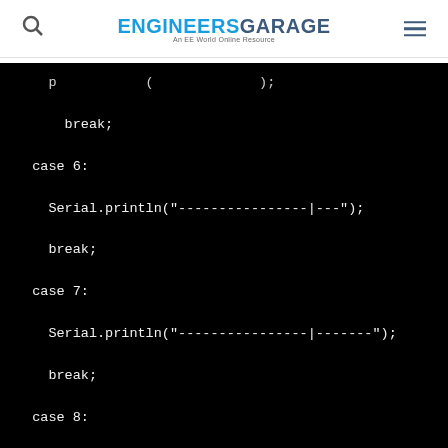ENGINEERS GARAGE — An EE World Online Resource
[Figure (screenshot): Code snippet on black background showing switch-case statements in Arduino/C++ with Serial.println calls. Shows partial top line, then break; case 6: Serial.println("----------------|---"); break; case 7: Serial.println("----------------|-------"); break; case 8:]